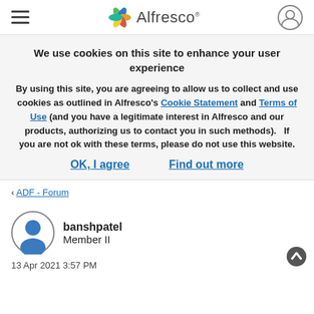Alfresco
We use cookies on this site to enhance your user experience
By using this site, you are agreeing to allow us to collect and use cookies as outlined in Alfresco's Cookie Statement and Terms of Use (and you have a legitimate interest in Alfresco and our products, authorizing us to contact you in such methods).   If you are not ok with these terms, please do not use this website.
OK, I agree    Find out more
‹ ADF - Forum
banshpatel
Member II
13 Apr 2021 3:57 PM